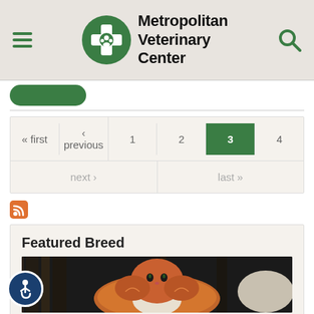Metropolitan Veterinary Center
[Figure (screenshot): Pagination navigation showing: « first, ‹ previous, 1, 2, 3 (active/selected in green), 4, next ›, last »]
[Figure (logo): Orange RSS feed icon]
Featured Breed
[Figure (photo): Photo of a fluffy long-haired orange and white cat outdoors against a dark wooden background]
[Figure (illustration): Accessibility icon button (blue circle with wheelchair user symbol)]